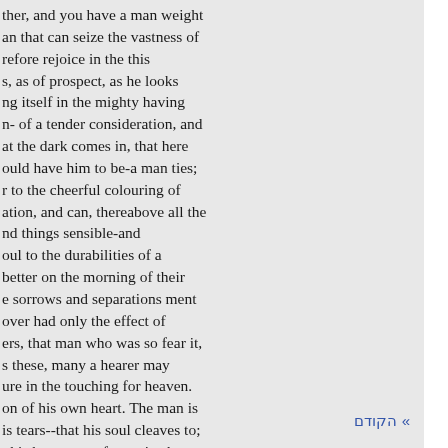ther, and you have a man weight an that can seize the vastness of refore rejoice in the this s, as of prospect, as he looks ng itself in the mighty having n- of a tender consideration, and at the dark comes in, that here ould have him to be-a man ties; r to the cheerful colouring of ation, and can, thereabove all the nd things sensible-and oul to the durabilities of a better on the morning of their e sorrows and separations ment over had only the effect of ers, that man who was so fear it, s these, many a hearer may ure in the touching for heaven. on of his own heart. The man is is tears--that his soul cleaves to; t his heart cares for, or is, that
» הקודם